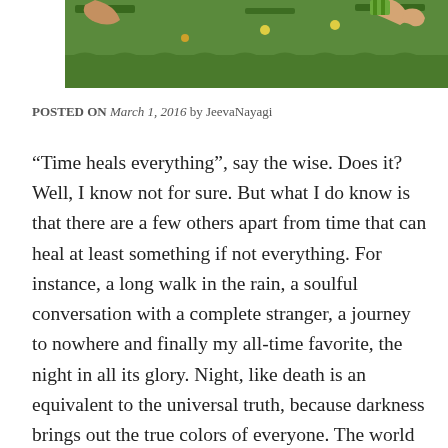[Figure (illustration): A cropped illustration showing hands and green grass/foliage, appears to be a traditional or folk art style painting with figures in a garden or outdoor scene.]
POSTED ON March 1, 2016 by JeevaNayagi
“Time heals everything”, say the wise. Does it? Well, I know not for sure. But what I do know is that there are a few others apart from time that can heal at least something if not everything. For instance, a long walk in the rain, a soulful conversation with a complete stranger, a journey to nowhere and finally my all-time favorite, the night in all its glory. Night, like death is an equivalent to the universal truth, because darkness brings out the true colors of everyone. The world wears a pretense through the day, waits for the sun go down and the lights to go on